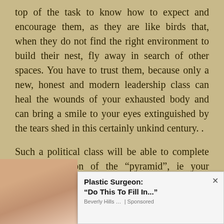top of the task to know how to expect and encourage them, as they are like birds that, when they do not find the right environment to build their nest, fly away in search of other spaces. You have to trust them, because only a new, honest and modern leadership class can heal the wounds of your exhausted body and can bring a smile to your eyes extinguished by the tears shed in this certainly unkind century. .
Such a political class will be able to complete the construction of the “pyramid”, ie your image, as that of a country that aspires and tries to find itself, without complexes of humility, in the space of a Europe that aims to unite for face the challenges of the third …ve the goal are not …ubsoil, geographical …lvancement of your
[Figure (photo): Advertisement overlay: photo of a woman's face on the left, and an ad box on the right reading 'Plastic Surgeon: “Do This To Fill In...” Beverly Hills ... | Sponsored' with a close button (x).]